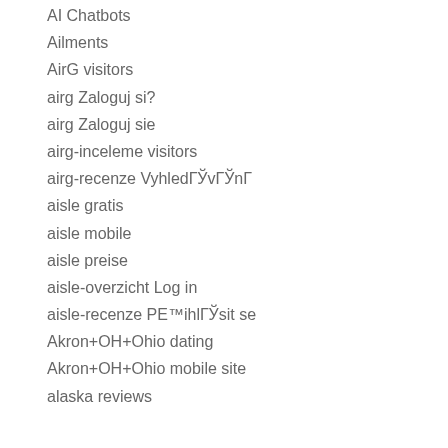AI Chatbots
Ailments
AirG visitors
airg Zaloguj si?
airg Zaloguj sie
airg-inceleme visitors
airg-recenze VyhledГЎvГЎnГ
aisle gratis
aisle mobile
aisle preise
aisle-overzicht Log in
aisle-recenze PЕ™ihlГЎsit se
Akron+OH+Ohio dating
Akron+OH+Ohio mobile site
alaska reviews